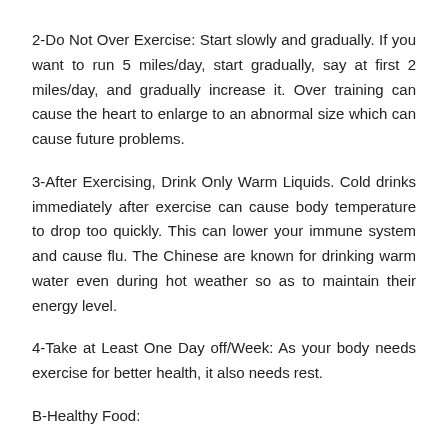2-Do Not Over Exercise: Start slowly and gradually. If you want to run 5 miles/day, start gradually, say at first 2 miles/day, and gradually increase it. Over training can cause the heart to enlarge to an abnormal size which can cause future problems.
3-After Exercising, Drink Only Warm Liquids. Cold drinks immediately after exercise can cause body temperature to drop too quickly. This can lower your immune system and cause flu. The Chinese are known for drinking warm water even during hot weather so as to maintain their energy level.
4-Take at Least One Day off/Week: As your body needs exercise for better health, it also needs rest.
B-Healthy Food: